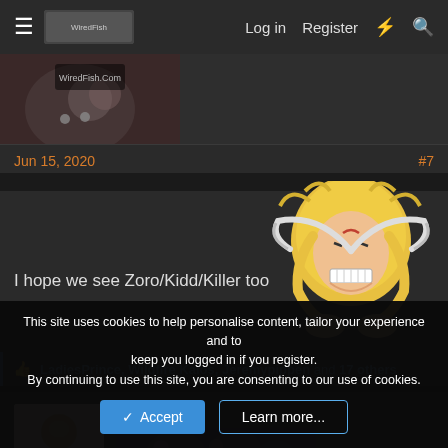≡  [logo]  Log in  Register  ⚡  🔍
[Figure (screenshot): Banner image showing anime characters, partially visible at top of page]
Jun 15, 2020  #7
I hope we see Zoro/Kidd/Killer too
[Figure (illustration): Anime character illustration - Killer from One Piece with blonde hair and curved scythes over face, grinning expression]
👍 LadiesPrince, Wildfire Kaios, Jeremypippen and 17 others
Albino 🔲
[Figure (screenshot): Thumbnail image showing anime characters from One Piece]
This site uses cookies to help personalise content, tailor your experience and to keep you logged in if you register.
By continuing to use this site, you are consenting to our use of cookies.
✓ Accept  Learn more...